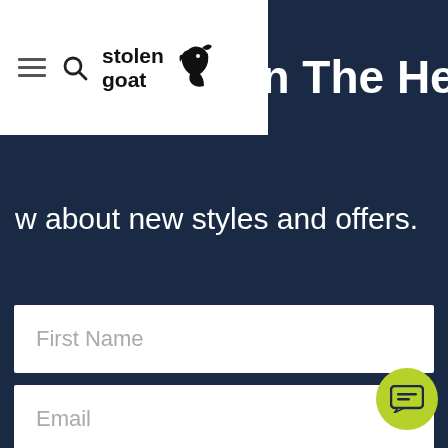Join The Herd!
[Figure (logo): Stolen Goat logo with hamburger menu and search icon in white navigation bar]
…know about new styles and offers.
First Name
Email
COUNT ME IN!